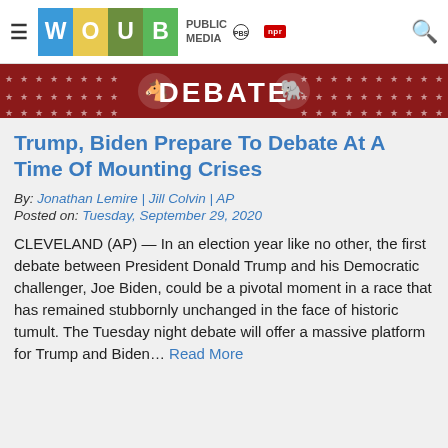WOUB PUBLIC MEDIA PBS NPR
[Figure (illustration): WOUB Debate banner with red background, stars, donkey and elephant icons, and 'DEBATE' text in white]
Trump, Biden Prepare To Debate At A Time Of Mounting Crises
By: Jonathan Lemire | Jill Colvin | AP
Posted on: Tuesday, September 29, 2020
CLEVELAND (AP) — In an election year like no other, the first debate between President Donald Trump and his Democratic challenger, Joe Biden, could be a pivotal moment in a race that has remained stubbornly unchanged in the face of historic tumult. The Tuesday night debate will offer a massive platform for Trump and Biden… Read More